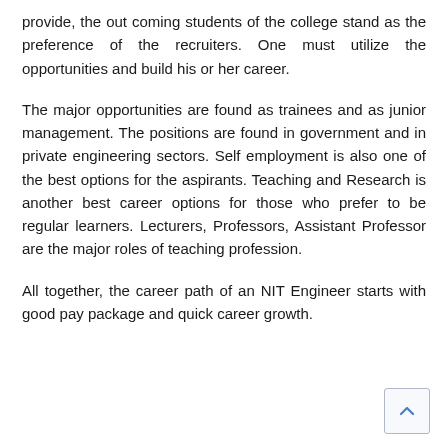provide, the out coming students of the college stand as the preference of the recruiters. One must utilize the opportunities and build his or her career.
The major opportunities are found as trainees and as junior management. The positions are found in government and in private engineering sectors. Self employment is also one of the best options for the aspirants. Teaching and Research is another best career options for those who prefer to be regular learners. Lecturers, Professors, Assistant Professor are the major roles of teaching profession.
All together, the career path of an NIT Engineer starts with good pay package and quick career growth.